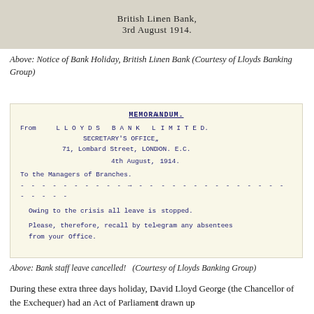[Figure (photo): Scanned document header from British Linen Bank showing 'British Linen Bank, 3rd August 1914.']
Above: Notice of Bank Holiday, British Linen Bank (Courtesy of Lloyds Banking Group)
[Figure (photo): Scanned memorandum from Lloyds Bank Limited, Secretary's Office, 71, Lombard Street, London, E.C., 4th August 1914, addressed to the Managers of Branches, stating 'Owing to the crisis all leave is stopped. Please, therefore, recall by telegram any absentees from your Office.']
Above: Bank staff leave cancelled!  (Courtesy of Lloyds Banking Group)
During these extra three days holiday, David Lloyd George (the Chancellor of the Exchequer) had an Act of Parliament drawn up